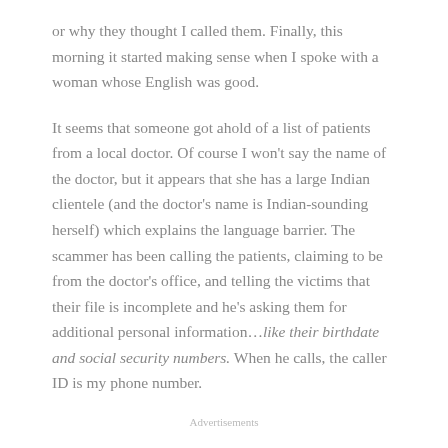or why they thought I called them. Finally, this morning it started making sense when I spoke with a woman whose English was good.
It seems that someone got ahold of a list of patients from a local doctor. Of course I won't say the name of the doctor, but it appears that she has a large Indian clientele (and the doctor's name is Indian-sounding herself) which explains the language barrier. The scammer has been calling the patients, claiming to be from the doctor's office, and telling the victims that their file is incomplete and he's asking them for additional personal information…like their birthdate and social security numbers. When he calls, the caller ID is my phone number.
Advertisements